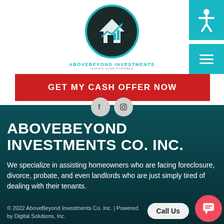[Figure (logo): AboveBeyond Investments circular logo with house and chart icon, teal and dark colors. Text: ABOVEBEYOND INVESTMENTS]
[Figure (other): Teal accessibility icon button in top right]
[Figure (other): Teal hamburger menu button on right side]
GET MY CASH OFFER NOW
[Figure (other): Social media icons - Facebook and Instagram circles]
ABOVEBEYOND INVESTMENTS CO. INC.
We specialize in assisting homeowners who are facing foreclosure, divorce, probate, and even landlords who are just simply tired of dealing with their tenants.
© 2022 AboveBeyond Investments Co. Inc. | Powered by Digital Solutions, Inc.